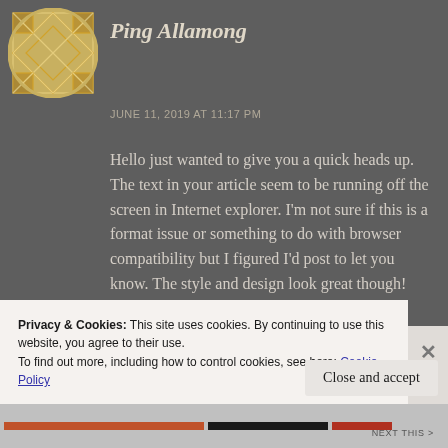Ping Allamong
JUNE 11, 2019 AT 11:17 PM
Hello just wanted to give you a quick heads up. The text in your article seem to be running off the screen in Internet explorer. I'm not sure if this is a format issue or something to do with browser compatibility but I figured I'd post to let you know. The style and design look great though! Hope you get the problem solved
Privacy & Cookies: This site uses cookies. By continuing to use this website, you agree to their use.
To find out more, including how to control cookies, see here: Cookie Policy
Close and accept